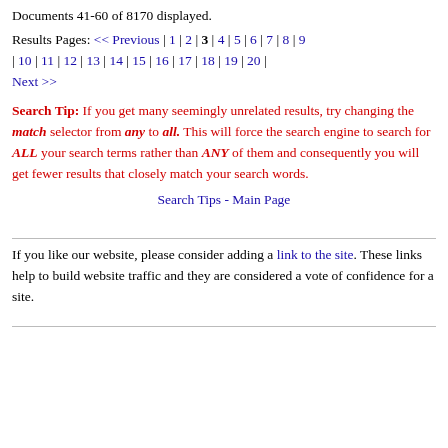Documents 41-60 of 8170 displayed.
Results Pages: << Previous | 1 | 2 | 3 | 4 | 5 | 6 | 7 | 8 | 9 | 10 | 11 | 12 | 13 | 14 | 15 | 16 | 17 | 18 | 19 | 20 | Next >>
Search Tip: If you get many seemingly unrelated results, try changing the match selector from any to all. This will force the search engine to search for ALL your search terms rather than ANY of them and consequently you will get fewer results that closely match your search words.
Search Tips - Main Page
If you like our website, please consider adding a link to the site. These links help to build website traffic and they are considered a vote of confidence for a site.